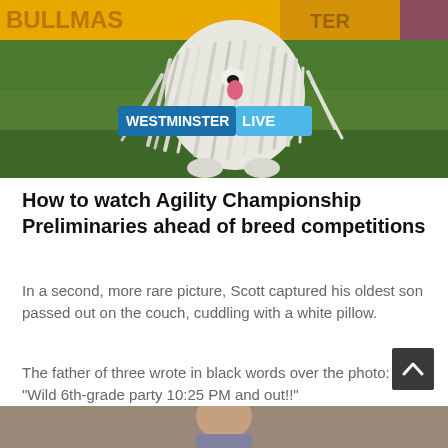[Figure (photo): A fluffy white Komondor or Puli dog with dreadlock-like fur running on a green field at the Westminster Dog Show, with a yellow banner in the background reading 'BULLMAS...' and a 'WESTMINSTER LIVE' overlay badge in the center of the image.]
How to watch Agility Championship Preliminaries ahead of breed competitions
In a second, more rare picture, Scott captured his oldest son passed out on the couch, cuddling with a white pillow.
The father of three wrote in black words over the photo: "Wild 6th-grade party 10:25 PM and out!!"
[Figure (photo): Bottom portion of a photo showing a person, partially visible, cropped at the bottom of the page.]